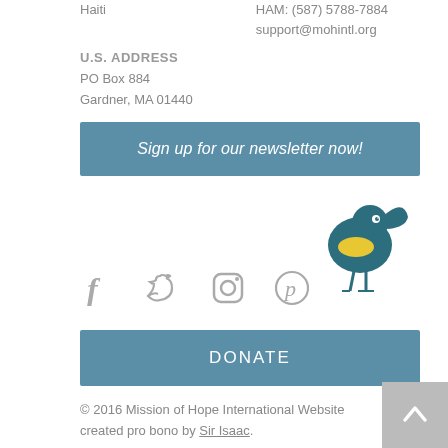Haiti
HAM: (587) 5788-7884
support@mohintl.org
U.S. ADDRESS
PO Box 884
Gardner, MA 01440
Sign up for our newsletter now!
[Figure (illustration): Cartoon blue bird mascot standing on thin legs with a yellow beak/chest accent]
[Figure (infographic): Social media icons: Facebook, Twitter, Instagram, Pinterest in gray]
DONATE
© 2016 Mission of Hope International Website created pro bono by Sir Isaac.